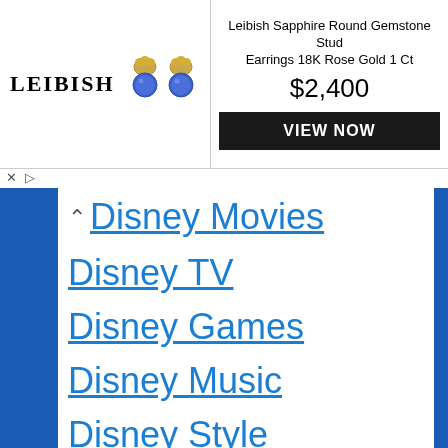[Figure (screenshot): Advertisement banner for Leibish Sapphire Round Gemstone Stud Earrings 18K Rose Gold 1 Ct, priced at $2,400 with a VIEW NOW button. Shows Leibish logo and earring product images.]
Disney Movies
Disney TV
Disney Games
Disney Music
Disney Style
Disney Books
Disney Live Shows